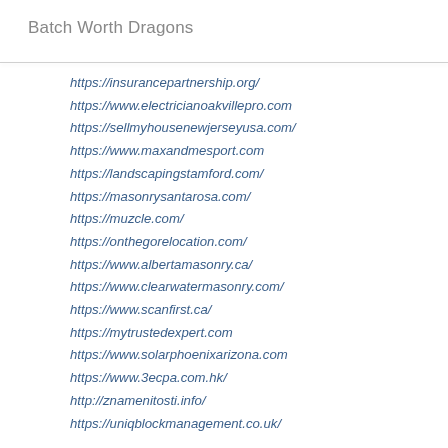Batch Worth Dragons
https://insurancepartnership.org/
https://www.electricianoakvillepro.com
https://sellmyhousenewjerseyusa.com/
https://www.maxandmesport.com
https://landscapingstamford.com/
https://masonrysantarosa.com/
https://muzcle.com/
https://onthegorelocation.com/
https://www.albertamasonry.ca/
https://www.clearwatermasonry.com/
https://www.scanfirst.ca/
https://mytrustedexpert.com
https://www.solarphoenixarizona.com
https://www.3ecpa.com.hk/
http://znamenitosti.info/
https://uniqblockmanagement.co.uk/